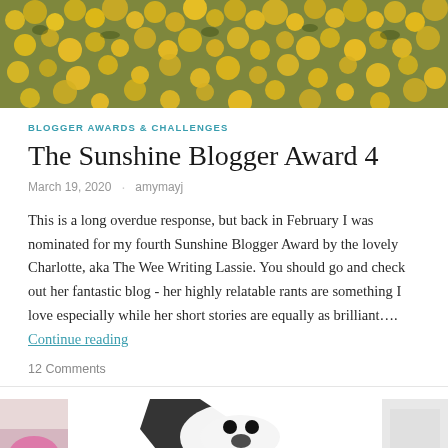[Figure (photo): Yellow flowers field, top banner image]
BLOGGER AWARDS & CHALLENGES
The Sunshine Blogger Award 4
March 19, 2020 · amymayj
This is a long overdue response, but back in February I was nominated for my fourth Sunshine Blogger Award by the lovely Charlotte, aka The Wee Writing Lassie. You should go and check out her fantastic blog - her highly relatable rants are something I love especially while her short stories are equally as brilliant.... Continue reading
12 Comments
[Figure (photo): Bottom partial image showing white fabric/clothes items]